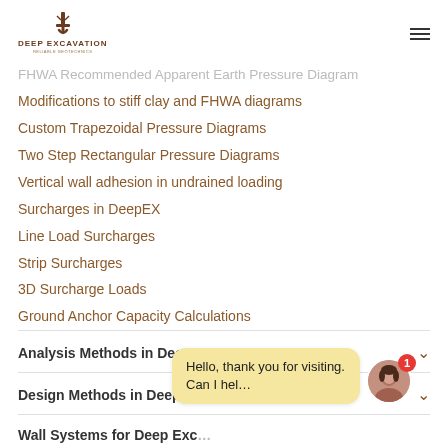DEEP EXCAVATION — RELIABLE GEOTECHNICS
FHWA Recommended Apparent Earth Pressure Diagram
Modifications to stiff clay and FHWA diagrams
Custom Trapezoidal Pressure Diagrams
Two Step Rectangular Pressure Diagrams
Vertical wall adhesion in undrained loading
Surcharges in DeepEX
Line Load Surcharges
Strip Surcharges
3D Surcharge Loads
Ground Anchor Capacity Calculations
Analysis Methods in DeepEX
Design Methods in DeepEX
Wall Systems for Deep Exc…
Hello, thank you for visiting. Can I hel…